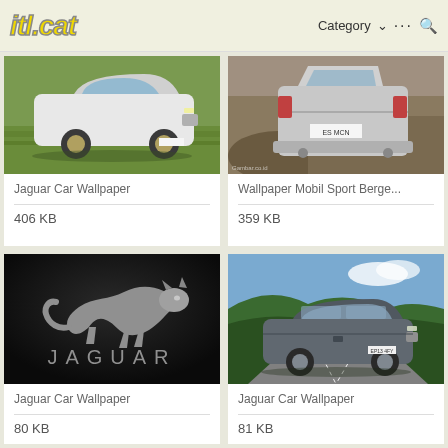itl.cat   Category ··· 🔍
[Figure (photo): White Jaguar XF car driving on road with blurred green background]
Jaguar Car Wallpaper
406 KB
[Figure (photo): Rear view of a Jaguar SUV on rocky terrain]
Wallpaper Mobil Sport Berge...
359 KB
[Figure (photo): Jaguar leaping cat chrome logo badge on dark background with JAGUAR text]
Jaguar Car Wallpaper
80 KB
[Figure (photo): Grey Jaguar XF sedan on mountain road with blue sky]
Jaguar Car Wallpaper
81 KB